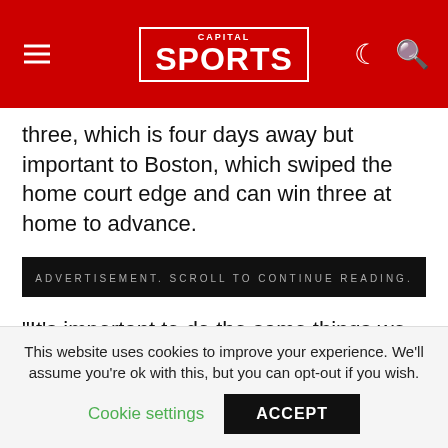Capital Sports
three, which is four days away but important to Boston, which swiped the home court edge and can win three at home to advance.
ADVERTISEMENT. SCROLL TO CONTINUE READING.
"It's important to do the same things we did in the first three quarters and the way we closed the game out," Rondo said.
Before the game, NBA commissioner David Stern said he
This website uses cookies to improve your experience. We'll assume you're ok with this, but you can opt-out if you wish.
Cookie settings   ACCEPT